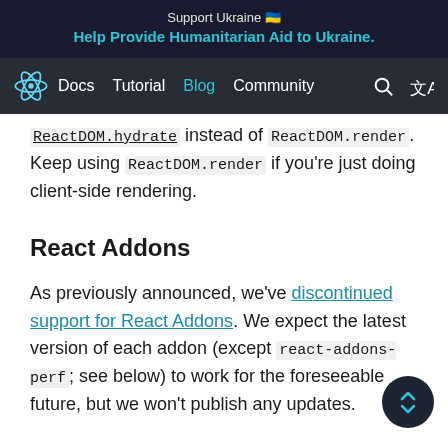Support Ukraine 🇺🇦
Help Provide Humanitarian Aid to Ukraine.
Docs Tutorial Blog Community
ReactDOM.hydrate instead of ReactDOM.render. Keep using ReactDOM.render if you're just doing client-side rendering.
React Addons
As previously announced, we've discontinued support for React Addons. We expect the latest version of each addon (except react-addons-perf; see below) to work for the foreseeable future, but we won't publish any updates.